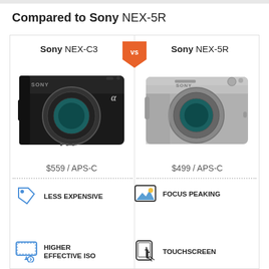Compared to Sony NEX-5R
[Figure (infographic): Side-by-side camera comparison: Sony NEX-C3 vs Sony NEX-5R. Left: Sony NEX-C3, $559 / APS-C, advantages: LESS EXPENSIVE, HIGHER EFFECTIVE ISO. Right: Sony NEX-5R, $499 / APS-C, advantages: FOCUS PEAKING, TOUCHSCREEN.]